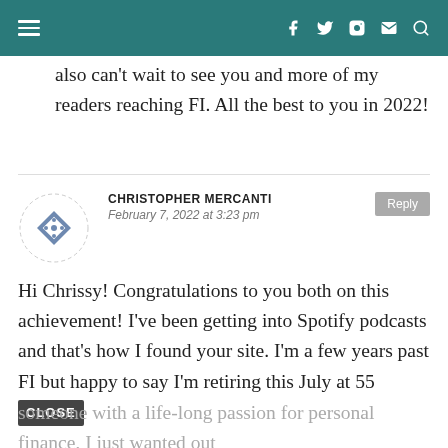also can't wait to see you and more of my readers reaching FI. All the best to you in 2022!
CHRISTOPHER MERCANTI
February 7, 2022 at 3:23 pm
Hi Chrissy! Congratulations to you both on this achievement! I've been getting into Spotify podcasts and that's how I found your site. I'm a few years past FI but happy to say I'm retiring this July at 55 [CLOSE]
someone with a life-long passion for personal finance, I just wanted out